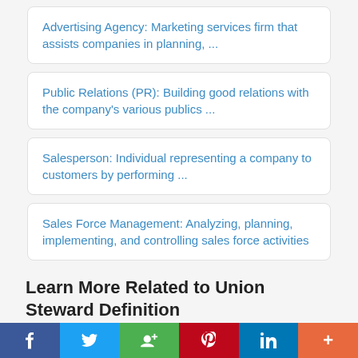Advertising Agency: Marketing services firm that assists companies in planning, ...
Public Relations (PR): Building good relations with the company's various publics ...
Salesperson: Individual representing a company to customers by performing ...
Sales Force Management: Analyzing, planning, implementing, and controlling sales force activities
Learn More Related to Union Steward Definition
Unit Labor Cost: Computed by dividing the average cost of workers ...
f  Twitter  Google+  Pinterest  in  +